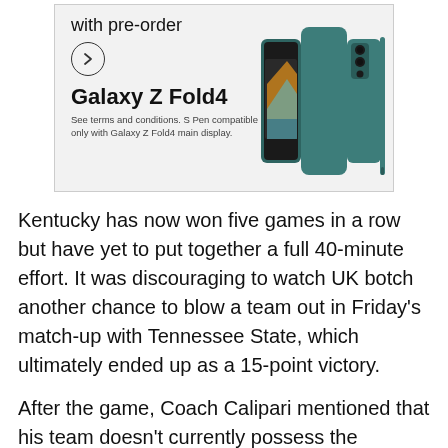[Figure (advertisement): Samsung Galaxy Z Fold4 advertisement showing the phone with a stylus, text 'with pre-order', circle arrow button, bold product name 'Galaxy Z Fold4', and fine print about S Pen compatibility.]
Kentucky has now won five games in a row but have yet to put together a full 40-minute effort. It was discouraging to watch UK botch another chance to blow a team out in Friday's match-up with Tennessee State, which ultimately ended up as a 15-point victory.
After the game, Coach Calipari mentioned that his team doesn't currently possess the discipline to play well for an entire 40-minute game. Offensively, Kentucky seems to be finding their groove and are now